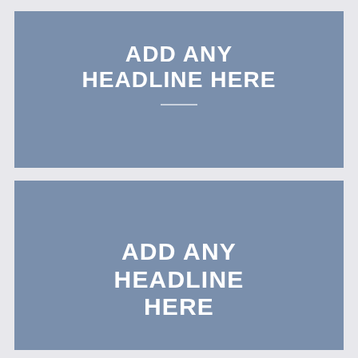ADD ANY HEADLINE HERE
ADD ANY HEADLINE HERE